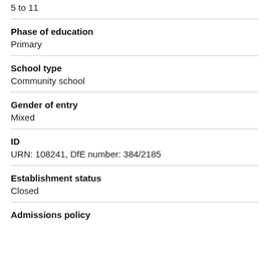5 to 11
Phase of education
Primary
School type
Community school
Gender of entry
Mixed
ID
URN: 108241, DfE number: 384/2185
Establishment status
Closed
Admissions policy